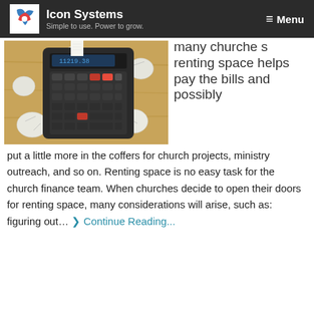Icon Systems — Simple to use. Power to grow. | Menu
[Figure (photo): A black Casio printing calculator on a wooden desk surface with crumpled paper balls scattered around it.]
many churches renting space helps pay the bills and possibly put a little more in the coffers for church projects, ministry outreach, and so on. Renting space is no easy task for the church finance team. When churches decide to open their doors for renting space, many considerations will arise, such as: figuring out… ❯ Continue Reading...